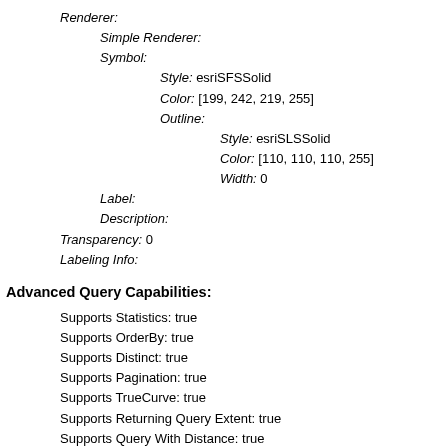Renderer:
Simple Renderer:
Symbol:
Style: esriSFSSolid
Color: [199, 242, 219, 255]
Outline:
Style: esriSLSSolid
Color: [110, 110, 110, 255]
Width: 0
Label:
Description:
Transparency: 0
Labeling Info:
Advanced Query Capabilities:
Supports Statistics: true
Supports OrderBy: true
Supports Distinct: true
Supports Pagination: true
Supports TrueCurve: true
Supports Returning Query Extent: true
Supports Query With Distance: true
Supports Sql Expression: true
Supports Query With ResultType: false
Supports Returning Geometry Centroid: false
Supports Binning LOD: false
Supports Query With LOD Spatial Reference: false